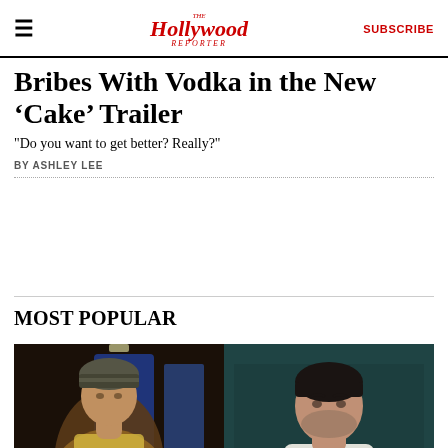The Hollywood Reporter — SUBSCRIBE
Bribes With Vodka in the New 'Cake' Trailer
"Do you want to get better? Really?"
BY ASHLEY LEE
MOST POPULAR
[Figure (photo): Two side-by-side film stills: left shows a man in a beanie and leopard-print jacket in a blue-lit industrial setting; right shows a man with dark hair and stubble in a light zip-up jacket against a dark teal background.]